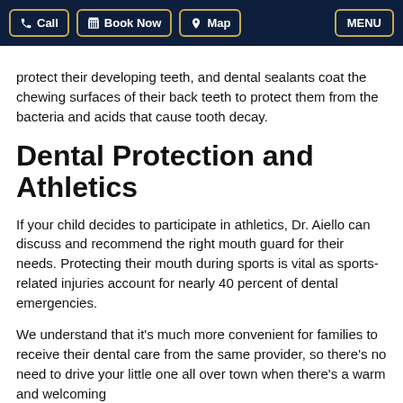Call | Book Now | Map | MENU
protect their developing teeth, and dental sealants coat the chewing surfaces of their back teeth to protect them from the bacteria and acids that cause tooth decay.
Dental Protection and Athletics
If your child decides to participate in athletics, Dr. Aiello can discuss and recommend the right mouth guard for their needs. Protecting their mouth during sports is vital as sports-related injuries account for nearly 40 percent of dental emergencies.
We understand that it’s much more convenient for families to receive their dental care from the same provider, so there’s no need to drive your little one all over town when there’s a warm and welcoming